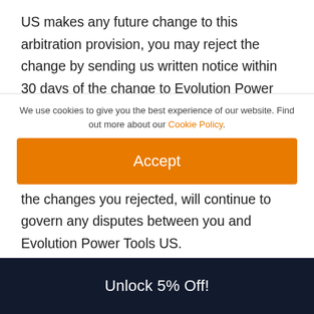US makes any future change to this arbitration provision, you may reject the change by sending us written notice within 30 days of the change to Evolution Power Tools US’s contact information provided in the “Contact Us” section below, in which case this arbitration provision, as in effect immediately prior to the changes you rejected, will continue to govern any disputes between you and Evolution Power Tools US.
Enforceability. If any provision of these Messaging
We use cookies to give you the best experience of our website. Find out more about our Cookie Policy.
Accept
Unlock 5% Off!